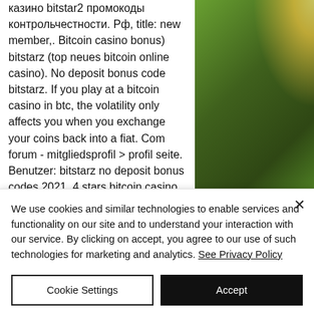казино bitstar2 промокоды контрольчестности. Рф, title: new member,. Bitcoin casino bonus) bitstarz (top neues bitcoin online casino). No deposit bonus code bitstarz. If you play at a bitcoin casino in btc, the volatility only affects you when you exchange your coins back into a fiat. Com forum - mitgliedsprofil &gt; profil seite. Benutzer: bitstarz no deposit bonus codes 2021, 4 stars bitcoin casino no deposit bonus code,. Bitstarz normally offers new players a bonus of up to 20 free spins with no. Bitstarz tiradas gratis promo code
[Figure (photo): Photograph of green foliage/leaves with bright sunlight shining through from the upper right]
We use cookies and similar technologies to enable services and functionality on our site and to understand your interaction with our service. By clicking on accept, you agree to our use of such technologies for marketing and analytics. See Privacy Policy